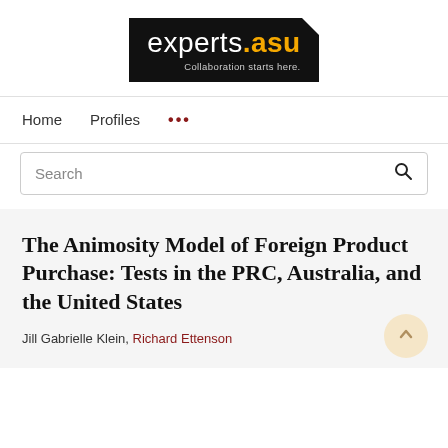[Figure (logo): experts.asu logo with black background, gold '.asu' text, and tagline 'Collaboration starts here.']
Home   Profiles   ...
Search
The Animosity Model of Foreign Product Purchase: Tests in the PRC, Australia, and the United States
Jill Gabrielle Klein, Richard Ettenson